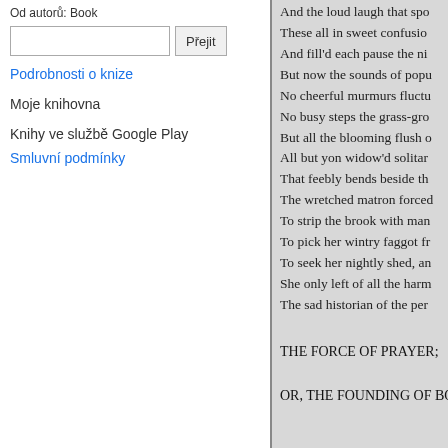Od autorů: Book
Přejit (search box with button)
Podrobnosti o knize
Moje knihovna
Knihy ve službě Google Play
Smluvní podmínky
And the loud laugh that spo
These all in sweet confusio
And fill'd each pause the ni
But now the sounds of popu
No cheerful murmurs fluctu
No busy steps the grass-gro
But all the blooming flush o
All but yon widow'd solitar
That feebly bends beside th
The wretched matron forced
To strip the brook with man
To pick her wintry faggot fr
To seek her nightly shed, an
She only left of all the harm
The sad historian of the per
THE FORCE OF PRAYER;
OR, THE FOUNDING OF BO